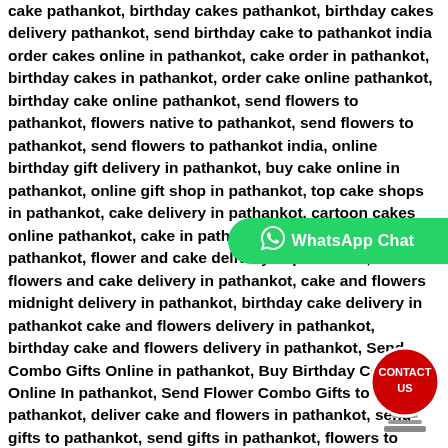cake pathankot, birthday cakes pathankot, birthday cakes delivery pathankot, send birthday cake to pathankot india order cakes online in pathankot, cake order in pathankot, birthday cakes in pathankot, order cake online pathankot, birthday cake online pathankot, send flowers to pathankot, flowers native to pathankot, send flowers to pathankot, send flowers to pathankot india, online birthday gift delivery in pathankot, buy cake online in pathankot, online gift shop in pathankot, top cake shops in pathankot, cake delivery in pathankot, cartoon cakes online pathankot, cake in pathankot, online flowers to pathankot, flower and cake delivery in pathankot, online flowers and cake delivery in pathankot, cake and flowers midnight delivery in pathankot, birthday cake delivery in pathankot cake and flowers delivery in pathankot, birthday cake and flowers delivery in pathankot, Send Combo Gifts Online in pathankot, Buy Birthday Combos Online In pathankot, Send Flower Combo Gifts to pathankot, deliver cake and flowers in pathankot, send gifts to pathankot, send gifts in pathankot, flowers to pathankot, flowers in pathankot, send chocolates online pathankot, same day chocolate delivery in pathankot, send flowers to moga punjab, send cake and flowers to moga, send flowers in india, send flowers online moga, send flowers in moga, online flower delivery in mohali, midnight cake delivery in moga, customized cakes in moga, gift shop in moga, online cake delivery in moga,
[Figure (other): WhatsApp Chat button - green rounded button with WhatsApp icon and text 'WhatsApp Chat']
[Figure (other): Contact Us button - red circle button with text 'CONTACT US' mounted on a spring base]